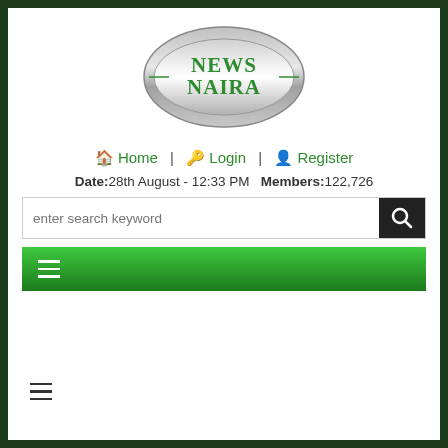[Figure (logo): News Naira logo — oval metallic badge with green text reading NEWS NAIRA]
Home | Login | Register
Date: 28th August - 12:33 PM   Members: 122,726
[Figure (screenshot): Search bar with placeholder text 'enter search keyword' and a dark search button with magnifying glass icon]
[Figure (screenshot): Green navigation bar with hamburger menu icon]
[Figure (other): Hamburger menu icon at bottom left of white area]